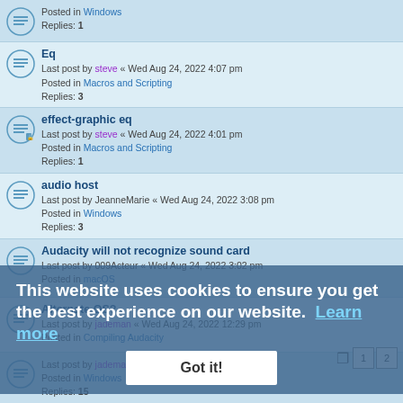Posted in Windows
Replies: 1
Eq
Last post by steve « Wed Aug 24, 2022 4:07 pm
Posted in Macros and Scripting
Replies: 3
effect-graphic eq
Last post by steve « Wed Aug 24, 2022 4:01 pm
Posted in Macros and Scripting
Replies: 1
audio host
Last post by JeanneMarie « Wed Aug 24, 2022 3:08 pm
Posted in Windows
Replies: 3
Audacity will not recognize sound card
Last post by 009Acteur « Wed Aug 24, 2022 3:02 pm
Posted in macOS
Alternate OS?
Last post by jademan « Wed Aug 24, 2022 12:29 pm
Posted in Compiling Audacity
Last post by jademan « Wed Aug 24, 2022 11:13 am
Posted in Windows
Replies: 15
Shifting multiple tracks at once, from a given position
Last post by lopsataitu « Wed Aug 24, 2022 11:06 am
Posted in Windows
Replies: 2
This website uses cookies to ensure you get the best experience on our website. Learn more
Got it!